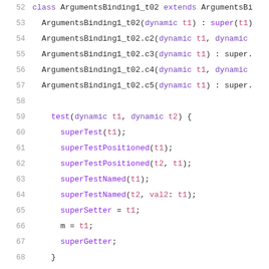52  class ArgumentsBinding1_t02 extends ArgumentsBi...
53    ArgumentsBinding1_t02(dynamic t1) : super(t1)
54    ArgumentsBinding1_t02.c2(dynamic t1, dynamic ...
55    ArgumentsBinding1_t02.c3(dynamic t1) : super.p...
56    ArgumentsBinding1_t02.c4(dynamic t1, dynamic ...
57    ArgumentsBinding1_t02.c5(dynamic t1) : super.s...
58  (blank)
59    test(dynamic t1, dynamic t2) {
60      superTest(t1);
61      superTestPositioned(t1);
62      superTestPositioned(t2, t1);
63      superTestNamed(t1);
64      superTestNamed(t2, val2: t1);
65      superSetter = t1;
66      m = t1;
67      superGetter;
68    }
69  }
70  (blank)
71  class ArgumentsBindingSuper2_t02<X> {
72    X m;